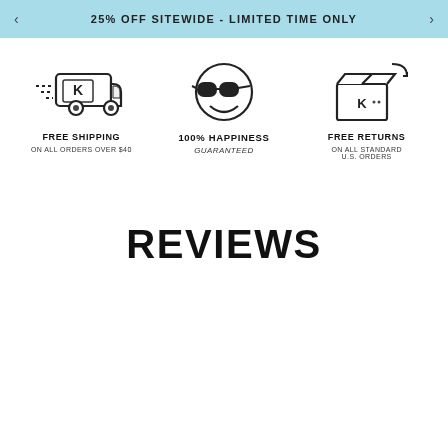25% OFF SITEWIDE - LIMITED TIME ONLY
[Figure (illustration): Delivery truck with K logo moving fast, representing free shipping]
FREE SHIPPING
ON ALL ORDERS OVER $40
[Figure (illustration): Smiley face with sunglasses icon representing 100% happiness guaranteed]
100% HAPPINESS
GUARANTEED
[Figure (illustration): Box with K logo and return arrow representing free returns]
FREE RETURNS
ON ALL STANDARD U.S. ORDERS
REVIEWS